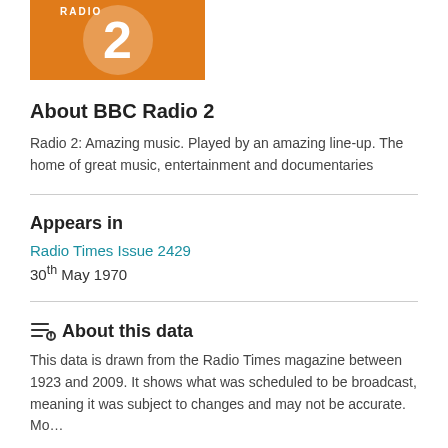[Figure (logo): BBC Radio 2 logo — orange rectangle with white circle containing number 2, and 'RADIO' text above]
About BBC Radio 2
Radio 2: Amazing music. Played by an amazing line-up. The home of great music, entertainment and documentaries
Appears in
Radio Times Issue 2429
30th May 1970
About this data
This data is drawn from the Radio Times magazine between 1923 and 2009. It shows what was scheduled to be broadcast, meaning it was subject to changes and may not be accurate. Mo…